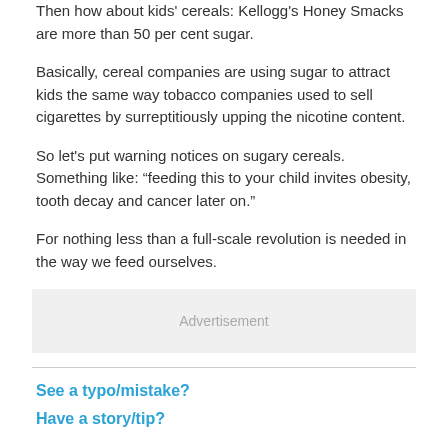Then how about kids' cereals: Kellogg's Honey Smacks are more than 50 per cent sugar.
Basically, cereal companies are using sugar to attract kids the same way tobacco companies used to sell cigarettes by surreptitiously upping the nicotine content.
So let's put warning notices on sugary cereals. Something like: “feeding this to your child invites obesity, tooth decay and cancer later on.”
For nothing less than a full-scale revolution is needed in the way we feed ourselves.
[Figure (other): Advertisement placeholder box]
See a typo/mistake?
Have a story/tip?